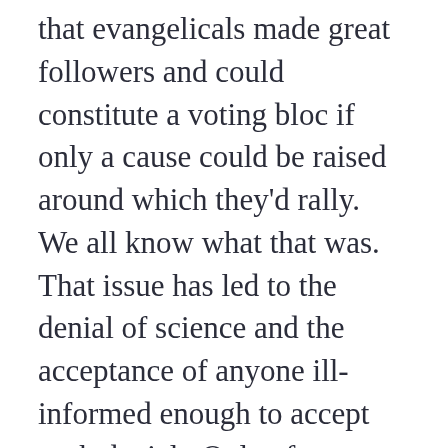that evangelicals made great followers and could constitute a voting bloc if only a cause could be raised around which they'd rally.  We all know what that was.  That issue has led to the denial of science and the acceptance of anyone ill-informed enough to accept such denial.  Only after learning that you must fight pandemics with science has the White House had to start changing its story.  When it's all over, however, it will